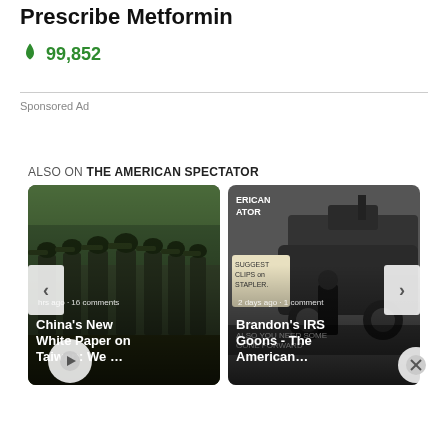Prescribe Metformin
🔥 99,852
Sponsored Ad
ALSO ON THE AMERICAN SPECTATOR
[Figure (photo): Carousel with two article cards: 'China's New White Paper on Taiwan: We …' with military soldiers photo (hours ago · 16 comments), and 'Brandon's IRS Goons - The American…' with IRS/armored vehicle image (2 days ago · 1 comment). Left and right navigation arrows visible.]